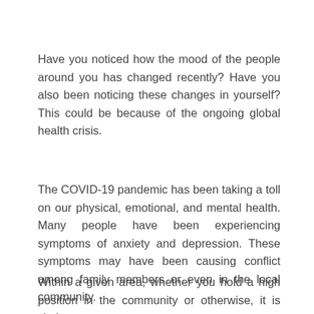Have you noticed how the mood of the people around you has changed recently? Have you also been noticing these changes in yourself? This could be because of the ongoing global health crisis.
The COVID-19 pandemic has been taking a toll on our physical, emotional, and mental health. Many people have been experiencing symptoms of anxiety and depression. These symptoms may have been causing conflict among family members or even in the local community.
Within a given area, whether you hold a high position in the community or otherwise, it is vital